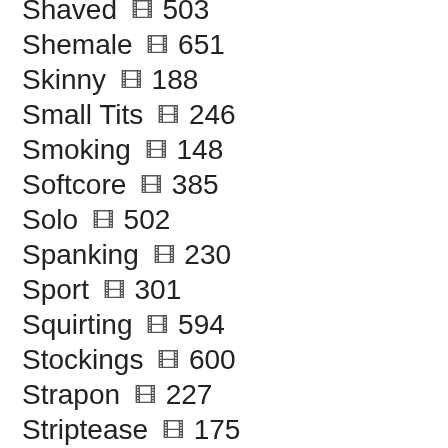Shaved 🎞 503
Shemale 🎞 651
Skinny 🎞 188
Small Tits 🎞 246
Smoking 🎞 148
Softcore 🎞 385
Solo 🎞 502
Spanking 🎞 230
Sport 🎞 301
Squirting 🎞 594
Stockings 🎞 600
Strapon 🎞 227
Striptease 🎞 175
Swallow 🎞 366
Swingers 🎞 107
Tattoo 🎞 222
Teacher 🎞 539
Teen 🎞 595